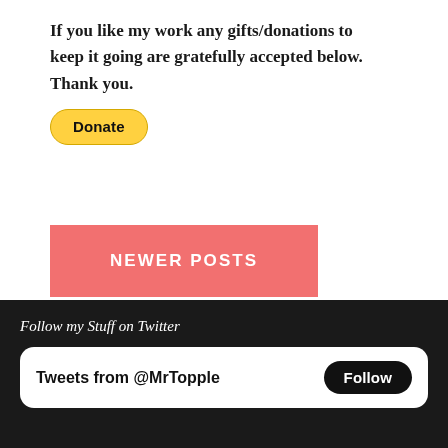If you like my work any gifts/donations to keep it going are gratefully accepted below. Thank you.
[Figure (other): Yellow PayPal Donate button with rounded pill shape and bold black text reading 'Donate']
NEWER POSTS
Follow my Stuff on Twitter
Tweets from @MrTopple
Follow